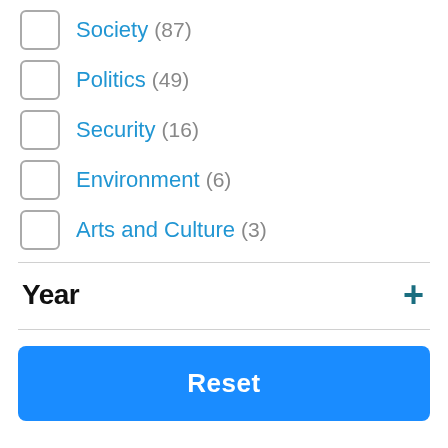Society (87)
Politics (49)
Security (16)
Environment (6)
Arts and Culture (3)
Year +
Reset